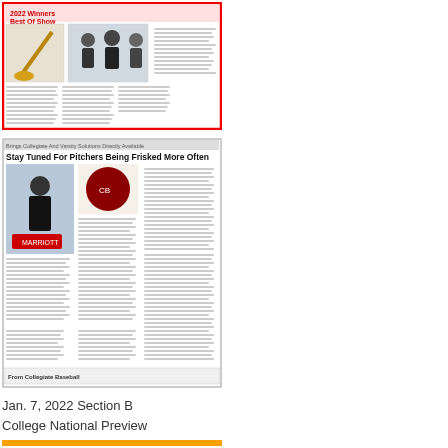[Figure (screenshot): Thumbnail of a newspaper front page: '2022 Winners Best Of Show' with red border, photos of baseball equipment and people at a convention, multiple columns of text]
[Figure (screenshot): Thumbnail of a newspaper section: headline 'Stay Tuned For Pitchers Being Frisked More Often', with photo of a speaker at a podium with Marriott logo background, columns of text, and a footer row 'From Collegiate Baseball']
Jan. 7, 2022 Section B
College National Preview
[Figure (screenshot): Thumbnail of College Baseball 2022 section B cover page: vertical 'College Baseball 2022' text on left spine, main image of Texas pitcher in orange uniform throwing a pitch, headline 'Texas No. 1', subheadline 'Longhorns Stockpiled With Elite Athletes', smaller pitcher photo below, columns of text, 'Section B' label]